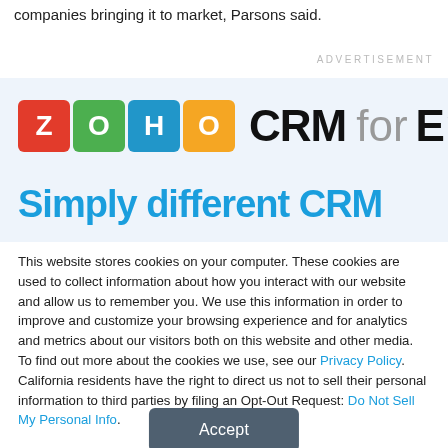companies bringing it to market, Parsons said.
ADVERTISEMENT
[Figure (screenshot): Zoho CRM for Enterprise advertisement banner with light blue background showing the Zoho logo (colorful block letters Z, O, H, O) followed by 'CRM for Enterp...' text, and 'Simply different CRM' below in blue]
This website stores cookies on your computer. These cookies are used to collect information about how you interact with our website and allow us to remember you. We use this information in order to improve and customize your browsing experience and for analytics and metrics about our visitors both on this website and other media. To find out more about the cookies we use, see our Privacy Policy. California residents have the right to direct us not to sell their personal information to third parties by filing an Opt-Out Request: Do Not Sell My Personal Info.
Accept